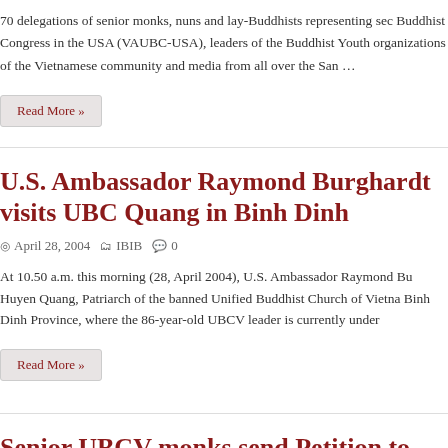70 delegations of senior monks, nuns and lay-Buddhists representing sec Buddhist Congress in the USA (VAUBC-USA), leaders of the Buddhist Youth organizations of the Vietnamese community and media from all over the San …
Read More »
U.S. Ambassador Raymond Burghardt visits UBC Quang in Binh Dinh
April 28, 2004   IBIB   0
At 10.50 a.m. this morning (28, April 2004), U.S. Ambassador Raymond Bu Huyen Quang, Patriarch of the banned Unified Buddhist Church of Vietna Binh Dinh Province, where the 86-year-old UBCV leader is currently under
Read More »
Senior UBCV monks send Petition to the Vietnam the release of Thich Huyen Quang, Thich Quang leaders